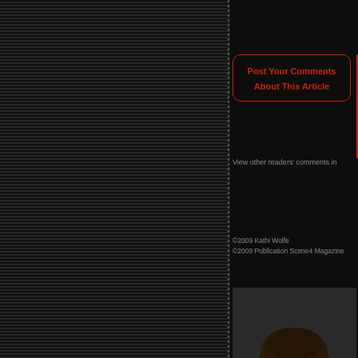[Figure (infographic): Decorative left panel with horizontal striped dark background and vertical dashed divider line]
Post Your Comments About This Article
View other readers' comments in
©2009 Kathi Wolfe
©2009 Publication Scene4 Magazine
[Figure (photo): Black and white portrait photo of Kathi Wolfe, a woman with short dark hair and glasses]
Kathi Wolfe is a writer, poet and a S... Her reviews and commentary have...
For more of her commentary and a...